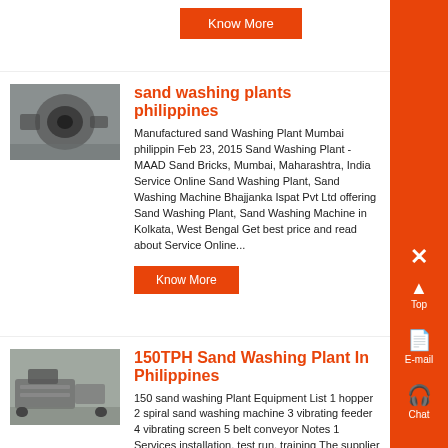[Figure (other): Orange Know More button at top of page]
[Figure (photo): Industrial sand washing machine equipment photo]
sand washing plants philippines
Manufactured sand Washing Plant Mumbai philippin Feb 23, 2015 Sand Washing Plant - MAAD Sand Bricks, Mumbai, Maharashtra, India Service Online Sand Washing Plant, Sand Washing Machine Bhajjanka Ispat Pvt Ltd offering Sand Washing Plant, Sand Washing Machine in Kolkata, West Bengal Get best price and read about Service Online...
[Figure (other): Orange Know More button]
[Figure (photo): Industrial sand washing plant machinery photo]
150TPH Sand Washing Plant In Philippines
150 sand washing Plant Equipment List 1 hopper 2 spiral sand washing machine 3 vibrating feeder 4 vibrating screen 5 belt conveyor Notes 1 Services installation, test run, training The supplier can provide basic drawings and schematic drawings of equipment installation...